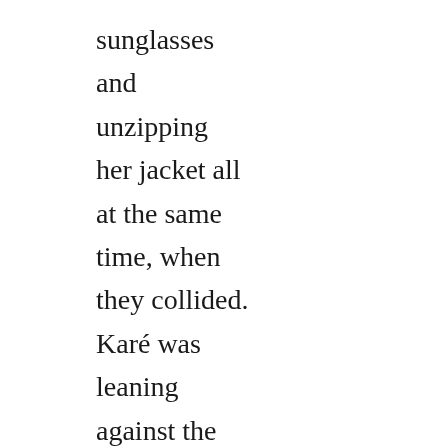sunglasses and unzipping her jacket all at the same time, when they collided. Karé was leaning against the fire department connection, one leg up, looking for all